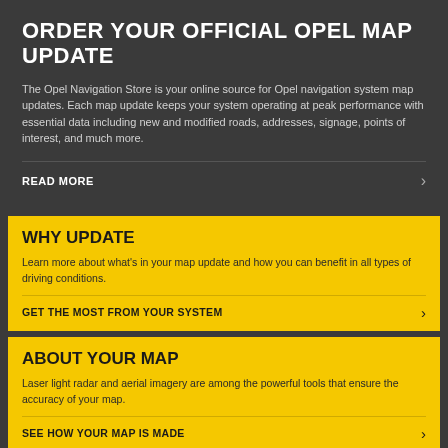ORDER YOUR OFFICIAL OPEL MAP UPDATE
The Opel Navigation Store is your online source for Opel navigation system map updates. Each map update keeps your system operating at peak performance with essential data including new and modified roads, addresses, signage, points of interest, and much more.
READ MORE
WHY UPDATE
Learn more about what’s in your map update and how you can benefit in all types of driving conditions.
GET THE MOST FROM YOUR SYSTEM
ABOUT YOUR MAP
Laser light radar and aerial imagery are among the powerful tools that ensure the accuracy of your map.
SEE HOW YOUR MAP IS MADE
HELP CENTER